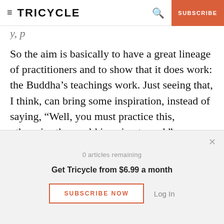TRICYCLE | SUBSCRIBE
So the aim is basically to have a great lineage of practitioners and to show that it does work: the Buddha’s teachings work. Just seeing that, I think, can bring some inspiration, instead of saying, “Well, you must practice this, otherwise the world is going to end.”
In a blog you posted on the UK Huffington Post
0 articles remaining
Get Tricycle from $6.99 a month
SUBSCRIBE NOW   Log In